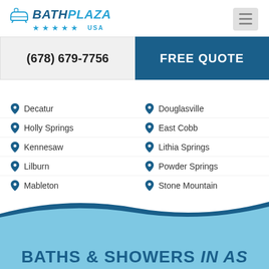[Figure (logo): Bath Plaza USA logo with bathtub icon, blue stars, and stylized text]
(678) 679-7756
FREE QUOTE
Decatur
Douglasville
Holly Springs
East Cobb
Kennesaw
Lithia Springs
Lilburn
Powder Springs
Mableton
Stone Mountain
BATHS & SHOWERS IN AS